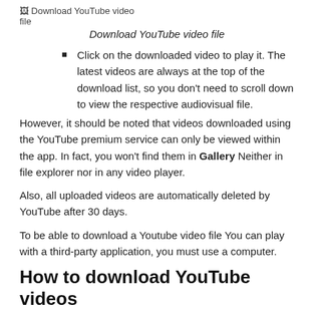[Figure (photo): Broken image placeholder labeled 'Download YouTube video file']
Download YouTube video file
Click on the downloaded video to play it. The latest videos are always at the top of the download list, so you don't need to scroll down to view the respective audiovisual file.
However, it should be noted that videos downloaded using the YouTube premium service can only be viewed within the app. In fact, you won't find them in Gallery Neither in file explorer nor in any video player.
Also, all uploaded videos are automatically deleted by YouTube after 30 days.
To be able to download a Youtube video file You can play with a third-party application, you must use a computer.
How to download YouTube videos